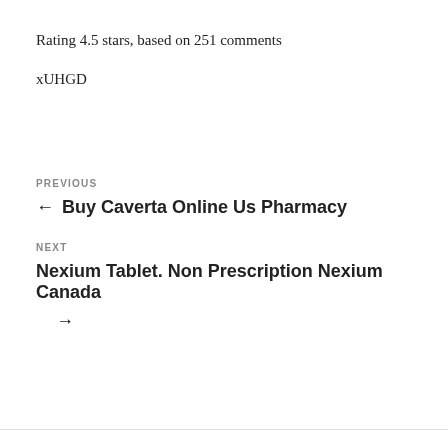Rating 4.5 stars, based on 251 comments
xUHGD
PREVIOUS
← Buy Caverta Online Us Pharmacy
NEXT
Nexium Tablet. Non Prescription Nexium Canada →